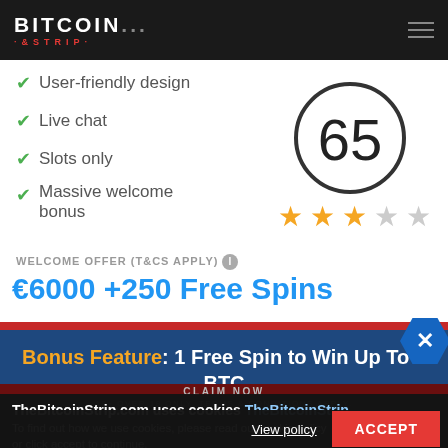BITCOIN STRIP
User-friendly design
Live chat
Slots only
Massive welcome bonus
[Figure (other): Score circle showing 65 with 3 out of 5 stars rating]
WELCOME OFFER (T&CS APPLY)
€6000 +250 Free Spins
Bonus Feature: 1 Free Spin to Win Up To 1 BTC
TheBitcoinStrip.com uses cookies TheBitcoinStrip
To find out how we use cookies, please read our cookie policy or click accept to continue.
CLAIM NOW
View policy
ACCEPT
18+ OVER 18 ONLY. TERMS & CONDITIONS APPLY.